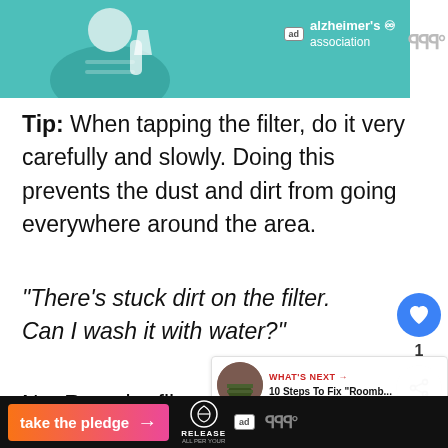[Figure (illustration): Top advertisement banner with teal background showing Alzheimer's Association ad with illustrated person holding a glass, and ad badge logo]
Tip: When tapping the filter, do it very carefully and slowly. Doing this prevents the dust and dirt from going everywhere around the area.
“There’s stuck dirt on the filter. Can I wash it with water?”
No. Roomba filters are not designed to be washed with water. Or get in contact with
[Figure (screenshot): What's Next widget showing thumbnail and text: 10 Steps To Fix “Roomb..."]
[Figure (screenshot): Bottom advertisement banner: take the pledge with arrow, Release logo, ad badge, W logo]